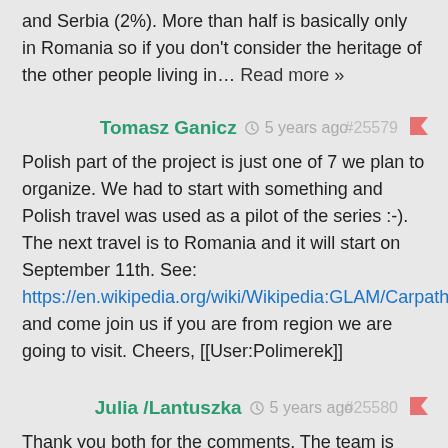and Serbia (2%). More than half is basically only in Romania so if you don't consider the heritage of the other people living in… Read more »
Tomasz Ganicz  5 years ago  #25579
Polish part of the project is just one of 7 we plan to organize. We had to start with something and Polish travel was used as a pilot of the series :-). The next travel is to Romania and it will start on September 11th. See: https://en.wikipedia.org/wiki/Wikipedia:GLAM/Carpathian_Ethnography_Project/Trips and come join us if you are from region we are going to visit. Cheers, [[User:Polimerek]]
Julia /Lantuszka  5 years ago  #25580
Thank you both for the comments. The team is very much aware that Carpathians are not only Poland that's